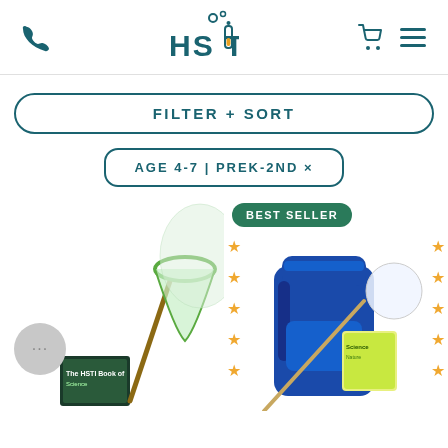HSTI logo with phone, cart, and menu icons
FILTER + SORT
AGE 4-7 | PREK-2ND ×
[Figure (photo): Product listing page showing two science kit products for ages 4-7 PreK-2nd grade. Left product shows a bug catching net with a book. Right product shows a blue backpack science kit with a 'BEST SELLER' badge and star decorations on both sides.]